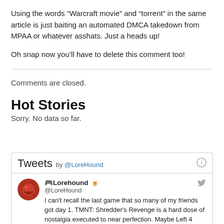Using the words “Warcraft movie” and “torrent” in the same article is just baiting an automated DMCA takedown from MPAA or whatever asshats. Just a heads up!
Oh snap now you’ll have to delete this comment too!
Comments are closed.
Hot Stories
Sorry. No data so far.
Tweets by @LoreHound
🎮 Lorehound 🍺 @LoreHound — I can't recall the last game that so many of my friends got day 1. TMNT: Shredder's Revenge is a hard dose of nostalgia executed to near perfection. Maybe Left 4